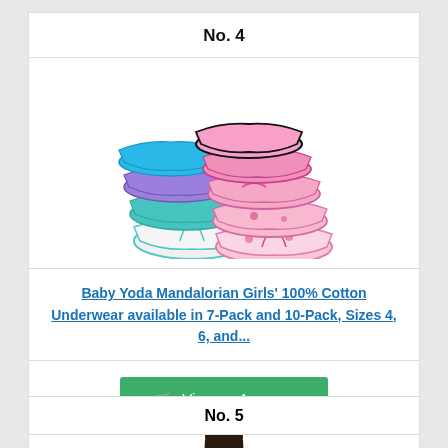No. 4
[Figure (photo): Product photo of Baby Yoda Mandalorian Girls' underwear multi-pack, showing colorful printed briefs fanned out]
Baby Yoda Mandalorian Girls' 100% Cotton Underwear available in 7-Pack and 10-Pack, Sizes 4, 6, and...
View on Amazon
No. 5
[Figure (photo): Partial photo of a woman with dark hair, cropped at bottom of page]